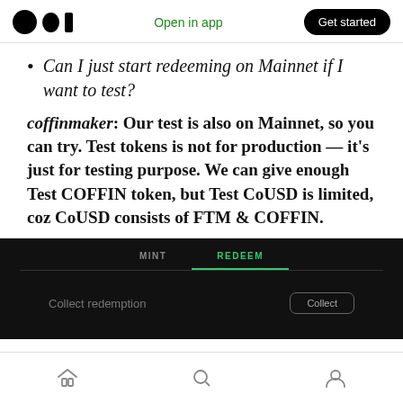Open in app | Get started
Can I just start redeeming on Mainnet if I want to test?
coffinmaker: Our test is also on Mainnet, so you can try. Test tokens is not for production — it's just for testing purpose. We can give enough Test COFFIN token, but Test CoUSD is limited, coz CoUSD consists of FTM & COFFIN.
[Figure (screenshot): App screenshot showing MINT and REDEEM tabs (REDEEM selected in green), and a 'Collect redemption' row with a 'Collect' button, on a dark background.]
Home | Search | Profile navigation icons